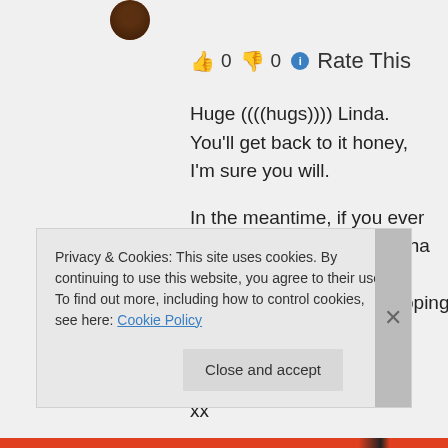[Figure (photo): User avatar image - circular profile photo showing a dark brown dog or animal]
👍 0 👎 0 ℹ Rate This
Huge ((((hugs)))) Linda. You'll get back to it honey, I'm sure you will.

In the meantime, if you ever get chance to escape (ha ha ha) let me know...coffee...cake...shopping...a listening ear...im your woman 🙂

xx
Privacy & Cookies: This site uses cookies. By continuing to use this website, you agree to their use.
To find out more, including how to control cookies, see here: Cookie Policy
Close and accept